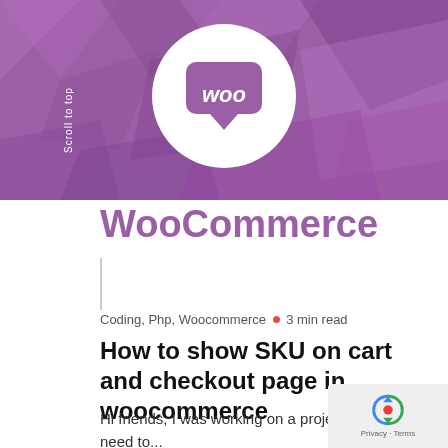[Figure (logo): WooCommerce banner with purple geometric background and white circular WooCommerce logo (speech bubble with 'woo' text) centered. 'Scroll to top' text vertically on left side.]
WooCommerce
Coding, Php, Woocommerce • 3 min read
How to show SKU on cart and checkout page in woocommerce
Hi friends, I was working on a project where we need to...